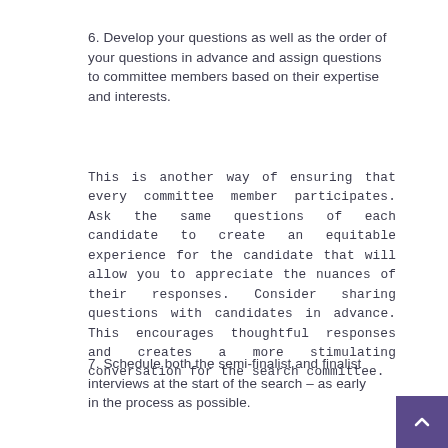6. Develop your questions as well as the order of your questions in advance and assign questions to committee members based on their expertise and interests.
This is another way of ensuring that every committee member participates. Ask the same questions of each candidate to create an equitable experience for the candidate that will allow you to appreciate the nuances of their responses. Consider sharing questions with candidates in advance. This encourages thoughtful responses and creates a more stimulating conversation for the search committee.
7. Schedule both the semi-finalist and finalist interviews at the start of the search – as early in the process as possible.